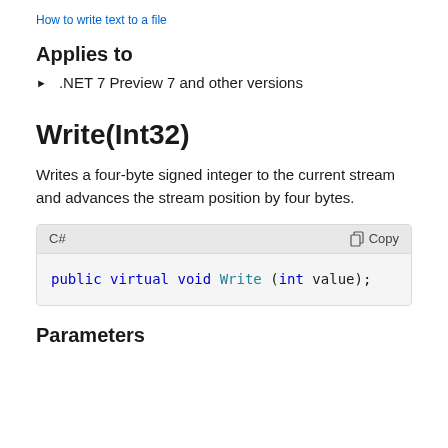How to write text to a file
Applies to
.NET 7 Preview 7 and other versions
Write(Int32)
Writes a four-byte signed integer to the current stream and advances the stream position by four bytes.
C#
public virtual void Write (int value);
Parameters